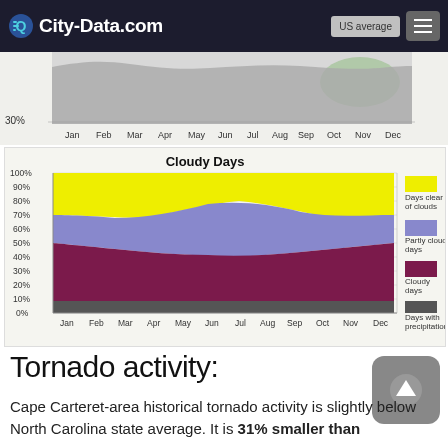City-Data.com | US average
[Figure (area-chart): Partial area chart visible at top of page, showing monthly data Jan-Dec with y-axis label 30%. Background is gray/green tones.]
[Figure (stacked-bar-chart): Cloudy Days]
Tornado activity:
Cape Carteret-area historical tornado activity is slightly below North Carolina state average. It is 31% smaller than